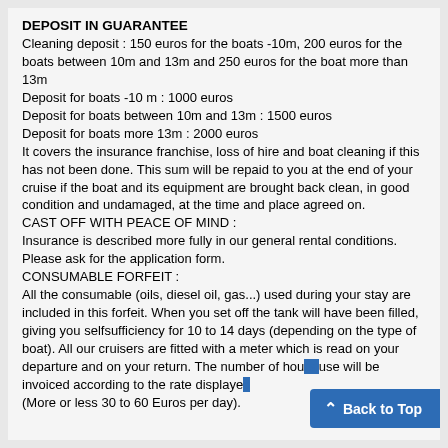DEPOSIT IN GUARANTEE
Cleaning deposit : 150 euros for the boats -10m, 200 euros for the boats between 10m and 13m and 250 euros for the boat more than 13m
Deposit for boats -10 m : 1000 euros
Deposit for boats between 10m and 13m : 1500 euros
Deposit for boats more 13m : 2000 euros
It covers the insurance franchise, loss of hire and boat cleaning if this has not been done. This sum will be repaid to you at the end of your cruise if the boat and its equipment are brought back clean, in good condition and undamaged, at the time and place agreed on.
CAST OFF WITH PEACE OF MIND :
Insurance is described more fully in our general rental conditions. Please ask for the application form.
CONSUMABLE FORFEIT :
All the consumable (oils, diesel oil, gas...) used during your stay are included in this forfeit. When you set off the tank will have been filled, giving you selfsufficiency for 10 to 14 days (depending on the type of boat). All our cruisers are fitted with a meter which is read on your departure and on your return. The number of hours use will be invoiced according to the rate displayed. (More or less 30 to 60 Euros per day).